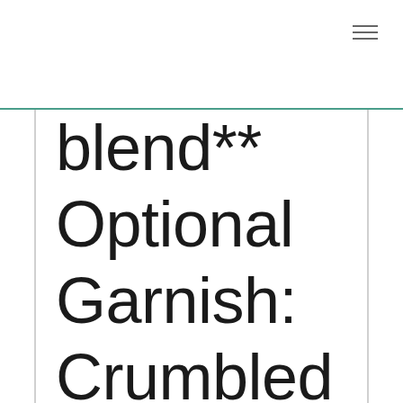blend** Optional Garnish: Crumbled feta or goat cheese, fresh lemon